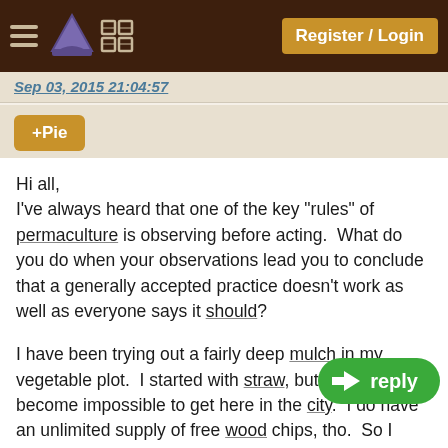Register / Login
Sep 03, 2015 21:04:57
+Pie
Hi all,
I've always heard that one of the key "rules" of permaculture is observing before acting.  What do you do when your observations lead you to conclude that a generally accepted practice doesn't work as well as everyone says it should?
I have been trying out a fairly deep mulch in my vegetable plot.  I started with straw, but it has become impossible to get here in the city.  I do have an unlimited supply of free wood chips, tho.  So I switched to that.  Yes, it does keep the soil moist and somewhat loose, and encourage worms, etc.  However, I've also noticed that it provides an almost tailor-made hom  It's very damp and foggy where I live, an community garden is overrun with slugs.  Seedlings get eaten as soon as they pop up.  Even fairly big